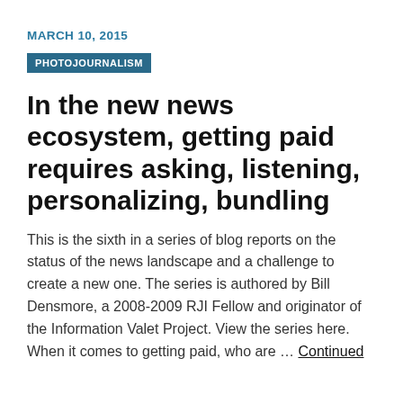MARCH 10, 2015
PHOTOJOURNALISM
In the new news ecosystem, getting paid requires asking, listening, personalizing, bundling
This is the sixth in a series of blog reports on the status of the news landscape and a challenge to create a new one. The series is authored by Bill Densmore, a 2008-2009 RJI Fellow and originator of the Information Valet Project. View the series here. When it comes to getting paid, who are … Continued